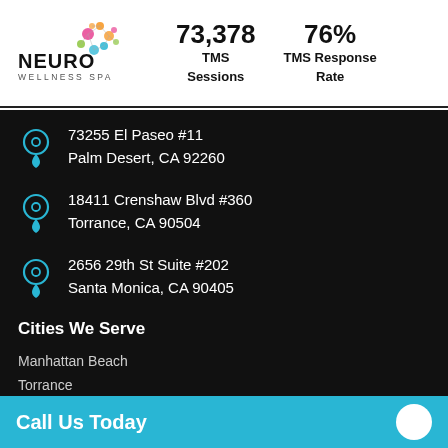[Figure (logo): Neuro Wellness Spa logo with colorful brain/neuron graphic and text NEURO WELLNESS SPA]
73,378 TMS Sessions
76% TMS Response Rate
73255 El Paseo #11
Palm Desert, CA 92260
18411 Crenshaw Blvd #360
Torrance, CA 90504
2656 29th St Suite #202
Santa Monica, CA 90405
Cities We Serve
Manhattan Beach
Torrance
Call Us Today